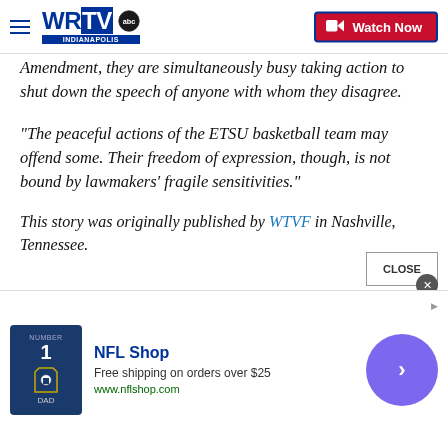WRTV Indianapolis | Watch Now
Amendment, they are simultaneously busy taking action to shut down the speech of anyone with whom they disagree.
“The peaceful actions of the ETSU basketball team may offend some. Their freedom of expression, though, is not bound by lawmakers’ fragile sensitivities.”
This story was originally published by WTVF in Nashville, Tennessee.
[Figure (screenshot): NFL Shop advertisement banner with Dallas Cowboys jersey image, 'Free shipping on orders over $25', www.nflshop.com, and a blue navigation arrow button]